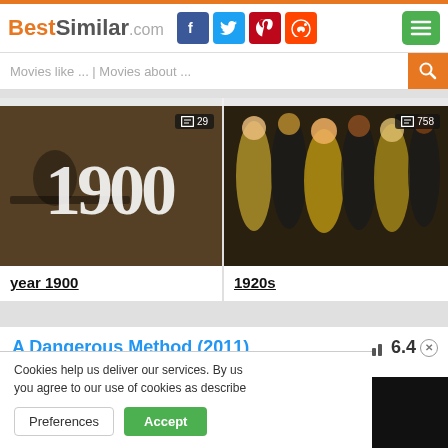BestSimilar.com
Movies like ... | Movies about ...
[Figure (screenshot): Movie card image for 'year 1900' — sepia-toned image of man at desk with large '1900' text overlay, badge showing 29]
year 1900
[Figure (screenshot): Movie card image for '1920s' — group of showgirls in sparkly costumes, badge showing 758]
1920s
A Dangerous Method (2011)
6.4
Cookies help us deliver our services. By us you agree to our use of cookies as describe
Preferences
Accept